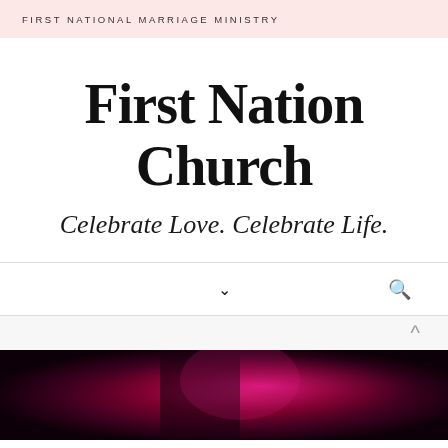FIRST NATIONAL MARRIAGE MINISTRY
First Nation Church
Celebrate Love. Celebrate Life.
[Figure (photo): Dark photograph with pink/magenta lighting, partially visible at bottom of page]